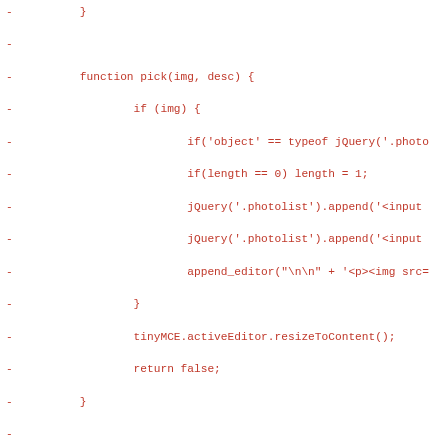Code diff showing removed lines (prefixed with -) of JavaScript/PHP code including pick(), image_selector(), jQuery(document).ready() functions and PHP die statement.